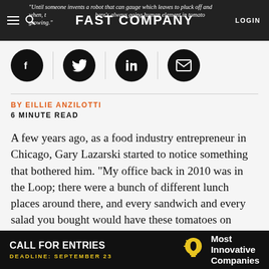Fast Company — navigation bar with logo, hamburger menu, search, LOGIN
"Until someone invents a robot that can gauge which leaves to pluck off and when, there's always going human element in tomato growing."
[Figure (other): Social sharing icons row: Facebook, Twitter, LinkedIn, Email (envelope) — black circles with white icons, separated by vertical dividers]
BY EILLIE ANZILOTTI
6 MINUTE READ
A few years ago, as a food industry entrepreneur in Chicago, Gary Lazarski started to notice something that bothered him. "My office back in 2010 was in the Loop; there were a bunch of different lunch places around there, and every sandwich and every salad you bought would have these tomatoes on them," Lazarski tells Fast Company. "They were terrible.
[Figure (other): Advertisement banner: black background, CALL FOR ENTRIES in white bold text, DEADLINE: SEPTEMBER 23 in yellow, lightbulb icon, Most Innovative Companies in white text]